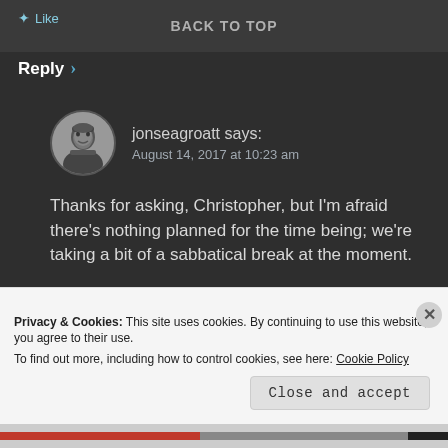BACK TO TOP
Reply >
jonseagroatt says:
August 14, 2017 at 10:23 am
Thanks for asking, Christopher, but I'm afraid there's nothing planned for the time being; we're taking a bit of a sabbatical break at the moment.
★ Like
Reply >
Privacy & Cookies: This site uses cookies. By continuing to use this website, you agree to their use.
To find out more, including how to control cookies, see here: Cookie Policy
Close and accept